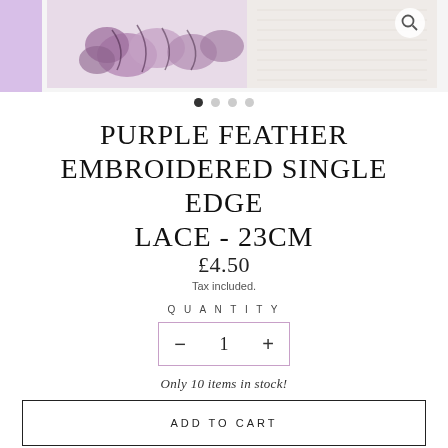[Figure (photo): Purple feather embroidered lace product image with thumbnail on left and main product image on right, search icon overlay]
PURPLE FEATHER EMBROIDERED SINGLE EDGE LACE - 23CM
£4.50
Tax included.
QUANTITY
1
Only 10 items in stock!
ADD TO CART